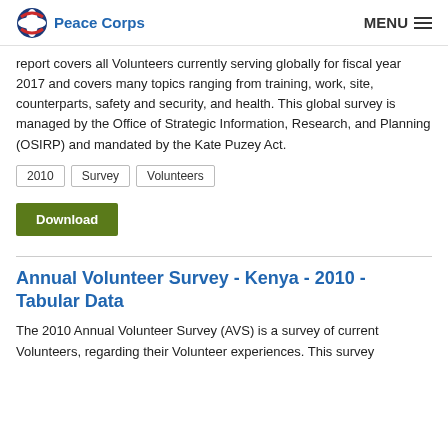Peace Corps   MENU
report covers all Volunteers currently serving globally for fiscal year 2017 and covers many topics ranging from training, work, site, counterparts, safety and security, and health. This global survey is managed by the Office of Strategic Information, Research, and Planning (OSIRP) and mandated by the Kate Puzey Act.
2010
Survey
Volunteers
Download
Annual Volunteer Survey - Kenya - 2010 - Tabular Data
The 2010 Annual Volunteer Survey (AVS) is a survey of current Volunteers, regarding their Volunteer experiences. This survey